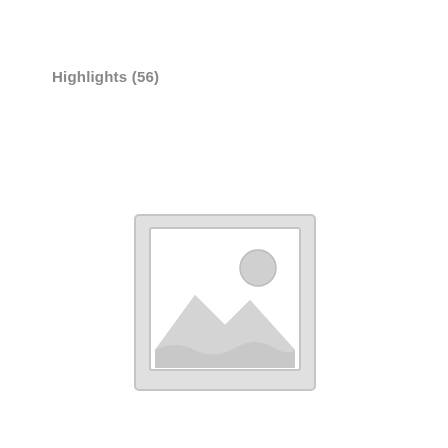Highlights (56)
[Figure (illustration): Placeholder image icon — a light gray square with a smaller inner square outline, a mountain/landscape silhouette at the bottom, and a circle (sun) in the upper right area, all rendered in light gray as a generic image placeholder.]